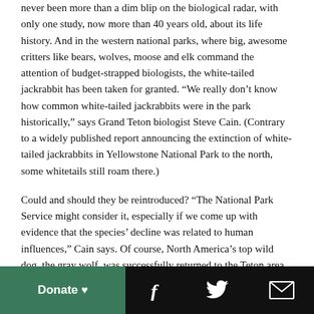never been more than a dim blip on the biological radar, with only one study, now more than 40 years old, about its life history. And in the western national parks, where big, awesome critters like bears, wolves, moose and elk command the attention of budget-strapped biologists, the white-tailed jackrabbit has been taken for granted. “We really don’t know how common white-tailed jackrabbits were in the park historically,” says Grand Teton biologist Steve Cain. (Contrary to a widely published report announcing the extinction of white-tailed jackrabbits in Yellowstone National Park to the north, some whitetails still roam there.)
Could and should they be reintroduced? “The National Park Service might consider it, especially if we come up with evidence that the species’ decline was related to human influences,” Cain says. Of course, North America’s top wild dog, the gray wolf, was successfully returned to the Teton area and Yellowstone National Park not long ago. But the concept of reintroducing small- to medium-size mammals to provide food for predators is something new. There is one precedent, however. Conservationists in Spain are restocking European
Donate ♥  [Facebook]  [Twitter]  [Email]